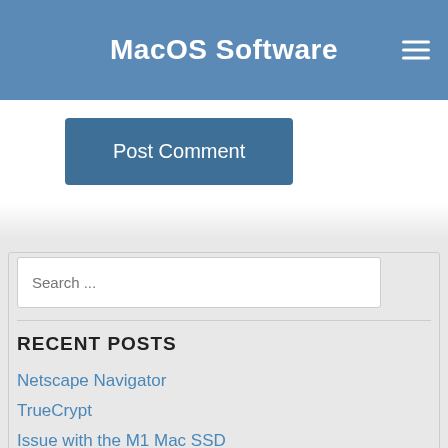MacOS Software
Post Comment
[Figure (screenshot): Search input box with placeholder text 'Search ...']
RECENT POSTS
Netscape Navigator
TrueCrypt
Issue with the M1 Mac SSD
Opera for Mac
StarCraft Remastered